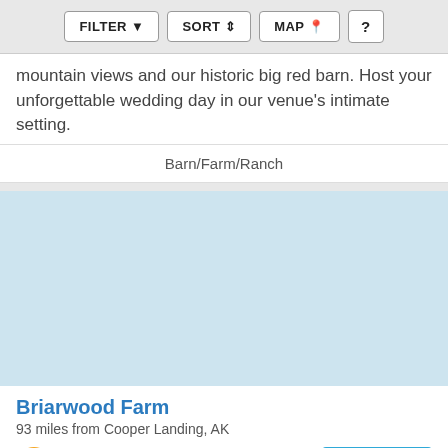FILTER | SORT | MAP | ?
mountain views and our historic big red barn. Host your unforgettable wedding day in our venue's intimate setting.
Barn/Farm/Ranch
[Figure (photo): Light blue placeholder image for a wedding venue listing]
Briarwood Farm
93 miles from Cooper Landing, AK
Capacity: 300